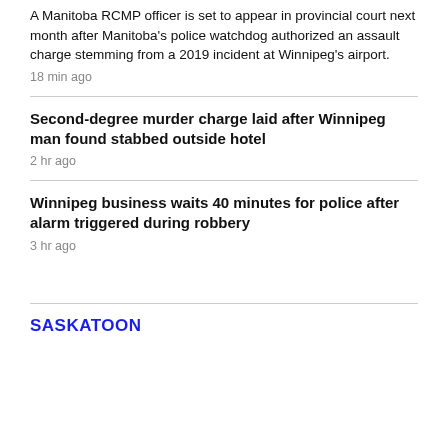A Manitoba RCMP officer is set to appear in provincial court next month after Manitoba's police watchdog authorized an assault charge stemming from a 2019 incident at Winnipeg's airport.
18 min ago
Second-degree murder charge laid after Winnipeg man found stabbed outside hotel
2 hr ago
Winnipeg business waits 40 minutes for police after alarm triggered during robbery
3 hr ago
SASKATOON